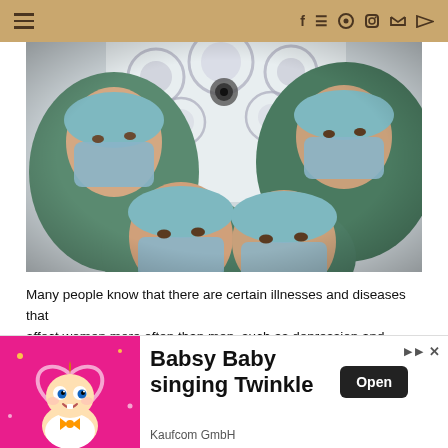☰  f  𝕡  📷  𝕥  ▶
[Figure (photo): Four medical professionals in surgical scrubs, caps, and masks looking down at the camera from above, with an operating room light panel visible in the background.]
Many people know that there are certain illnesses and diseases that affect women more often than men, such as depression and narcois. However, there are also illnesses and diseases that
[Figure (infographic): Advertisement banner for 'Babsy Baby singing Twinkle' by Kaufcom GmbH, featuring a cartoon baby on a pink background with an 'Open' button.]